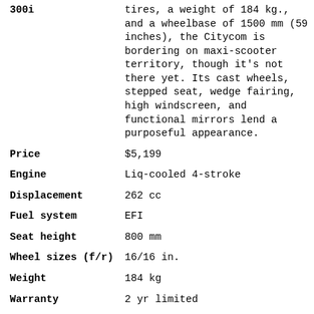| 300i | tires, a weight of 184 kg., and a wheelbase of 1500 mm (59 inches), the Citycom is bordering on maxi-scooter territory, though it's not there yet. Its cast wheels, stepped seat, wedge fairing, high windscreen, and functional mirrors lend a purposeful appearance. |
| Price | $5,199 |
| Engine | Liq-cooled 4-stroke |
| Displacement | 262 cc |
| Fuel system | EFI |
| Seat height | 800 mm |
| Wheel sizes (f/r) | 16/16 in. |
| Weight | 184 kg |
| Warranty | 2 yr limited |
|  | The TGB Tapo RS/RR 50 is distributed by Scott Scherwin Motorsachine to the |